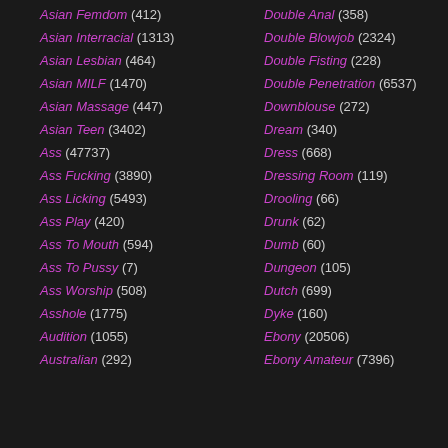Asian Femdom (412)
Asian Interracial (1313)
Asian Lesbian (464)
Asian MILF (1470)
Asian Massage (447)
Asian Teen (3402)
Ass (47737)
Ass Fucking (3890)
Ass Licking (5493)
Ass Play (420)
Ass To Mouth (594)
Ass To Pussy (7)
Ass Worship (508)
Asshole (1775)
Audition (1055)
Australian (292)
Double Anal (358)
Double Blowjob (2324)
Double Fisting (228)
Double Penetration (6537)
Downblouse (272)
Dream (340)
Dress (668)
Dressing Room (119)
Drooling (66)
Drunk (62)
Dumb (60)
Dungeon (105)
Dutch (699)
Dyke (160)
Ebony (20506)
Ebony Amateur (7396)